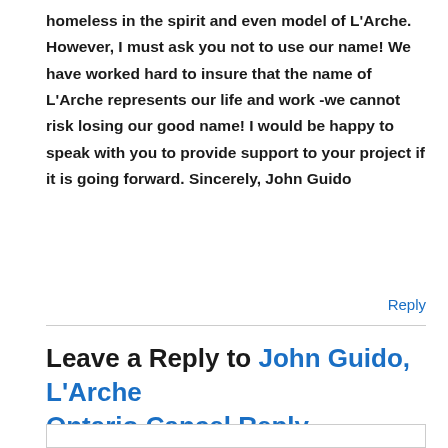homeless in the spirit and even model of L'Arche. However, I must ask you not to use our name! We have worked hard to insure that the name of L'Arche represents our life and work -we cannot risk losing our good name! I would be happy to speak with you to provide support to your project if it is going forward. Sincerely, John Guido
Reply
Leave a Reply to John Guido, L'Arche Ontario Cancel Reply
Your email address will not be published. Required fields are marked *